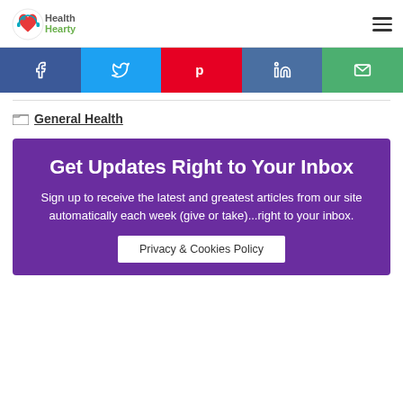HealthHearty
[Figure (infographic): Social sharing buttons: Facebook (dark blue), Twitter (light blue), Pinterest (red), LinkedIn (steel blue), Email (green)]
General Health
Get Updates Right to Your Inbox
Sign up to receive the latest and greatest articles from our site automatically each week (give or take)...right to your inbox.
Privacy & Cookies Policy